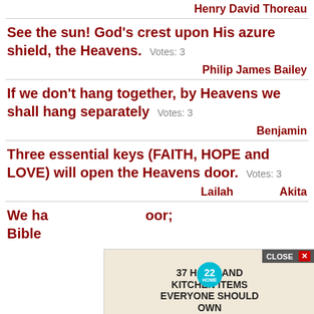Henry David Thoreau
See the sun! God's crest upon His azure shield, the Heavens.  Votes: 3
Philip James Bailey
If we don't hang together, by Heavens we shall hang separately  Votes: 3
Benjamin
Three essential keys (FAITH, HOPE and LOVE) will open the Heavens door.  Votes: 3
Lailah... Akita
We ha... oor; Bible...
[Figure (screenshot): Advertisement overlay showing '37 HOME AND KITCHEN ITEMS EVERYONE SHOULD OWN' with Mueller brand, a CLOSE button, and a badge showing 22.]